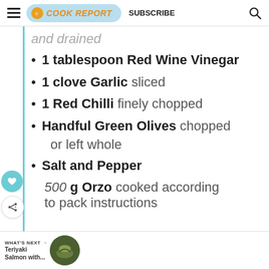COOK REPORT  SUBSCRIBE
and drained
1 tablespoon Red Wine Vinegar
1 clove Garlic sliced
1 Red Chilli finely chopped
Handful Green Olives chopped or left whole
Salt and Pepper
500 g Orzo cooked according to pack instructions
WHAT'S NEXT → Teriyaki Salmon with...